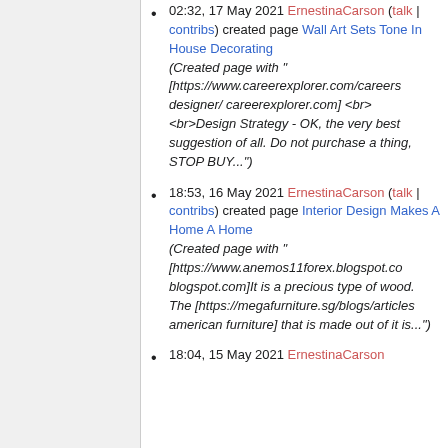02:32, 17 May 2021 ErnestinaCarson (talk | contribs) created page Wall Art Sets Tone In House Decorating (Created page with "[https://www.careerexplorer.com/careers designer/ careerexplorer.com] <br> <br>Design Strategy - OK, the very best suggestion of all. Do not purchase a thing, STOP BUY...")
18:53, 16 May 2021 ErnestinaCarson (talk | contribs) created page Interior Design Makes A Home A Home (Created page with "[https://www.anemos11forex.blogspot.co blogspot.com]It is a precious type of wood. The [https://megafurniture.sg/blogs/articles american furniture] that is made out of it is...")
18:04, 15 May 2021 ErnestinaCarson